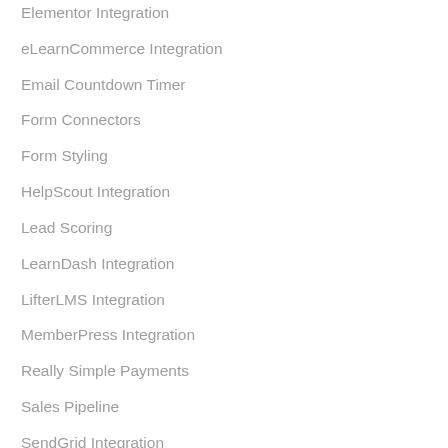Elementor Integration
eLearnCommerce Integration
Email Countdown Timer
Form Connectors
Form Styling
HelpScout Integration
Lead Scoring
LearnDash Integration
LifterLMS Integration
MemberPress Integration
Really Simple Payments
Sales Pipeline
SendGrid Integration
Signed Contracts